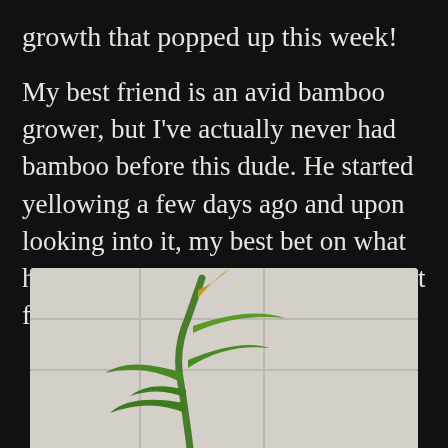growth that popped up this week!
My best friend is an avid bamboo grower, but I've actually never had bamboo before this dude. He started yellowing a few days ago and upon looking into it, my best bet on what he needed was some nice liquid plant food. So he got some yesterday .
[Figure (photo): A bamboo plant with green leaves and a slightly yellowing tip, photographed against a white tiled background.]